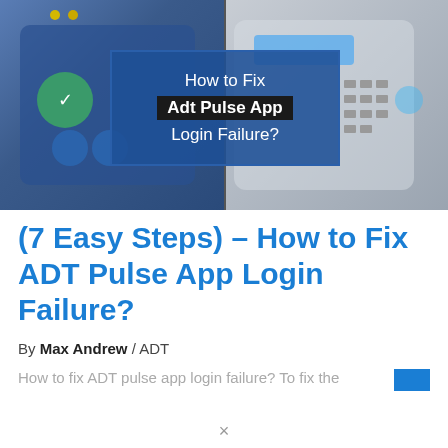[Figure (photo): Split image showing ADT Pulse smart home security panels. Left side shows a blue touchscreen panel, right side shows a white keypad panel. Overlaid text box reads: How to Fix Adt Pulse App Login Failure?]
(7 Easy Steps) – How to Fix ADT Pulse App Login Failure?
By Max Andrew / ADT
How to fix ADT pulse app login failure? To fix the...